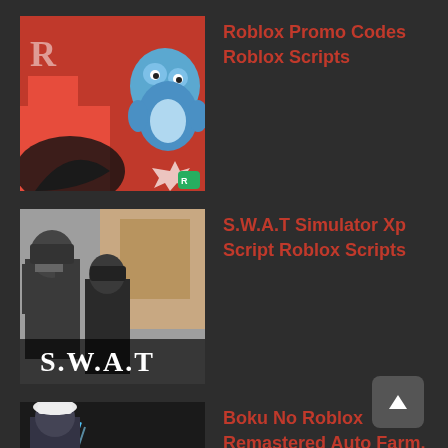Roblox Promo Codes Roblox Scripts
S.W.A.T Simulator Xp Script Roblox Scripts
Boku No Roblox Remastered Auto Farm, Auto Stats Roblox Scripts
Anime Fighting Simulator Chikara Autofarm Roblox Scripts